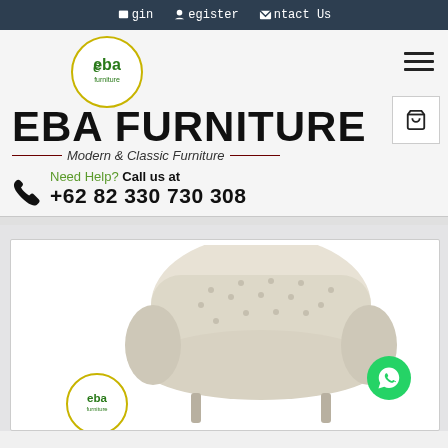Login  Register  Contact Us
[Figure (logo): EBA Furniture circular logo with green text 'eba' and 'furniture' inside a yellow circle border]
EBA FURNITURE
Modern & Classic Furniture
Need Help? Call us at +62 82 330 730 308
[Figure (photo): A cream/white tufted armchair with rolled arms shown against white background, with EBA Furniture logo watermark and WhatsApp button overlay]